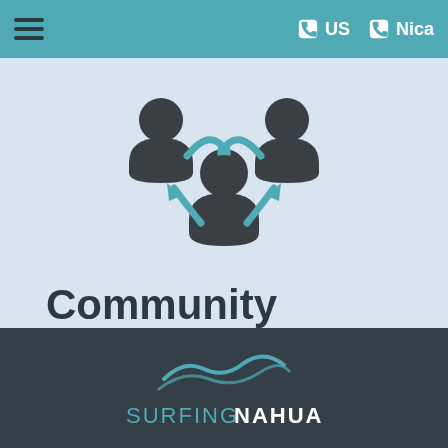☰  US  Nica
[Figure (illustration): Icon showing three person silhouettes connected with blue curved arrows in a community/network pattern]
Community
We take care of our 50+ employees and families and help the community in areas of education, sports, recycling program and the medical/dental clinics.
[Figure (logo): Surfing Nahua logo with wave graphic above text SURFINGNAHUA on dark background]